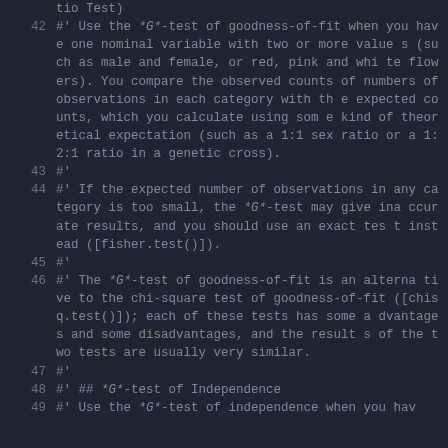Code listing showing R documentation comments for G-test functions, lines 41-49
line partial: tio Test)
42: #' Use the *G*-test of goodness-of-fit when you have one nominal variable with two or more values (such as male and female, or red, pink and white flowers). You compare the observed counts of numbers of observations in each category with the expected counts, which you calculate using some kind of theoretical expectation (such as a 1:1 sex ratio or a 1:2:1 ratio in a genetic cross).
43: #'
44: #' If the expected number of observations in any category is too small, the *G*-test may give inaccurate results, and you should use an exact test instead ([fisher.test()]).
45: #'
46: #' The *G*-test of goodness-of-fit is an alternative to the chi-square test of goodness-of-fit ([chisq.test()]); each of these tests has some advantages and some disadvantages, and the results of the two tests are usually very similar.
47: #'
48: #' ## *G*-test of Independence
49: #' Use the *G*-test of independence when you hav